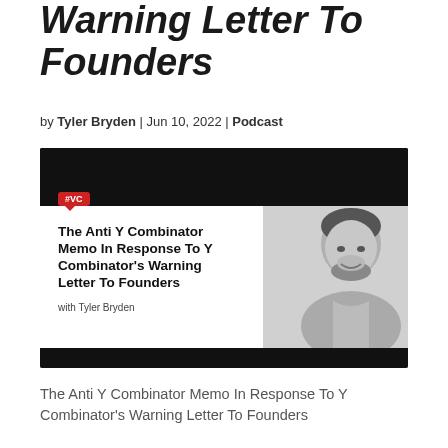Warning Letter To Founders
by Tyler Bryden | Jun 10, 2022 | Podcast
[Figure (photo): Podcast thumbnail image with dark header bar, #VC tag, title 'The Anti Y Combinator Memo In Response To Y Combinator's Warning Letter To Founders', 'with Tyler Bryden' text, and a black-and-white photo of a smiling man with beard]
The Anti Y Combinator Memo In Response To Y Combinator's Warning Letter To Founders